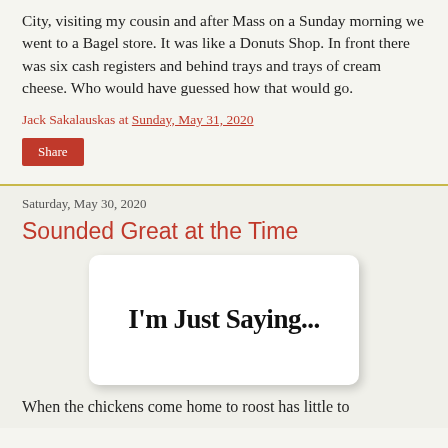City, visiting my cousin and after Mass on a Sunday morning we went to a Bagel store. It was like a Donuts Shop. In front there was six cash registers and behind trays and trays of cream cheese. Who would have guessed how that would go.
Jack Sakalauskas at Sunday, May 31, 2020
Share
Saturday, May 30, 2020
Sounded Great at the Time
[Figure (illustration): White rounded rectangle card with handwritten-style text reading 'I'm Just Saying...' on a light background, with a drop shadow.]
When the chickens come home to roost has little to